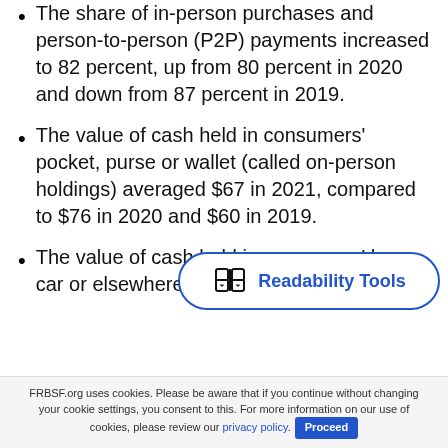The share of in-person purchases and person-to-person (P2P) payments increased to 82 percent, up from 80 percent in 2020 and down from 87 percent in 2019.
The value of cash held in consumers' pocket, purse or wallet (called on-person holdings) averaged $67 in 2021, compared to $76 in 2020 and $60 in 2019.
[Figure (other): Readability Tools button overlay — a rounded-rectangle badge with an open-book icon and the label 'Readability Tools' in blue]
The value of cash held in consumers' home, car or elsewhere (called
FRBSF.org uses cookies. Please be aware that if you continue without changing your cookie settings, you consent to this. For more information on our use of cookies, please review our privacy policy. Proceed